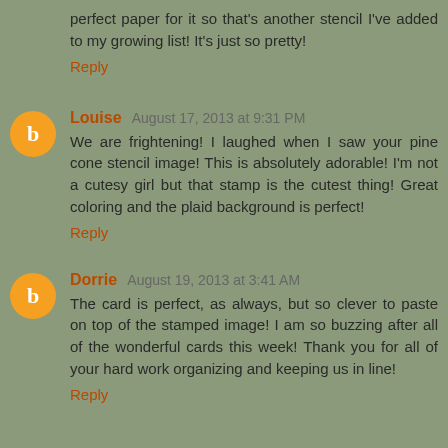perfect paper for it so that's another stencil I've added to my growing list! It's just so pretty!
Reply
Louise  August 17, 2013 at 9:31 PM
We are frightening! I laughed when I saw your pine cone stencil image! This is absolutely adorable! I'm not a cutesy girl but that stamp is the cutest thing! Great coloring and the plaid background is perfect!
Reply
Dorrie  August 19, 2013 at 3:41 AM
The card is perfect, as always, but so clever to paste on top of the stamped image! I am so buzzing after all of the wonderful cards this week! Thank you for all of your hard work organizing and keeping us in line!
Reply